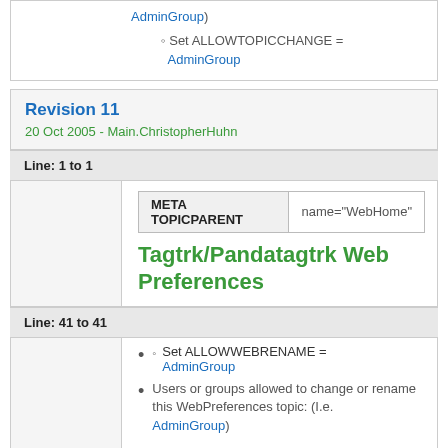Set ALLOWTOPICCHANGE = AdminGroup
Revision 11
20 Oct 2005 - Main.ChristopherHuhn
Line: 1 to 1
| META TOPICPARENT | name="WebHome" |
| --- | --- |
Tagtrk/Pandatagtrk Web Preferences
Line: 41 to 41
Set ALLOWWEBRENAME = AdminGroup
Users or groups allowed to change or rename this WebPreferences topic: (I.e. AdminGroup)